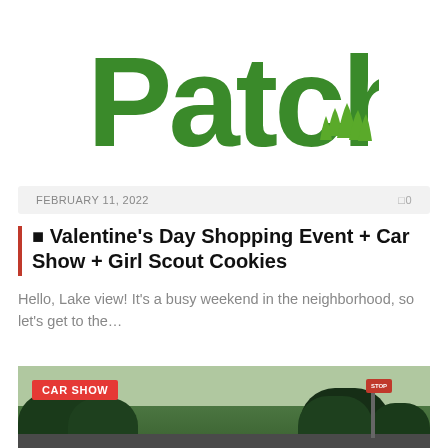[Figure (logo): Patch logo in green with grass icon]
FEBRUARY 11, 2022   0
■ Valentine’s Day Shopping Event + Car Show + Girl Scout Cookies
Hello, Lake view! It’s a busy weekend in the neighborhood, so let’s get to the…
[Figure (photo): Outdoor car show photo with trees, labeled CAR SHOW in red badge]